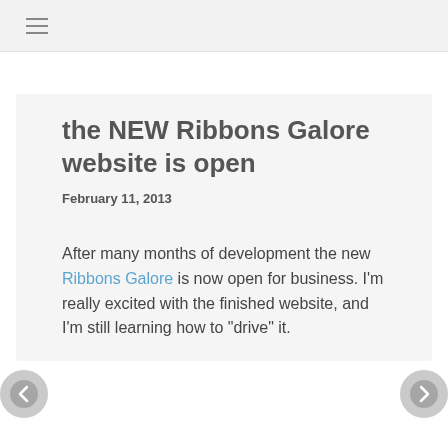☰
the NEW Ribbons Galore website is open
February 11, 2013
After many months of development the new Ribbons Galore is now open for business. I'm really excited with the finished website, and I'm still learning how to "drive" it.